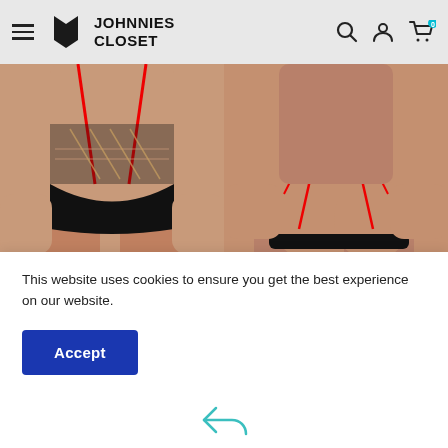Johnnies Closet
[Figure (photo): Two product photos side by side showing lingerie/underwear on models — front view on left, back view on right, with black lace stockings, red straps, and black thong-style underwear.]
[Figure (illustration): Teal/cyan outline icon of a 3D box/package, shown partially at top of gray section.]
This website uses cookies to ensure you get the best experience on our website.
[Figure (illustration): Teal/cyan outline icon of a return/exchange symbol (arrow) visible at very bottom of page.]